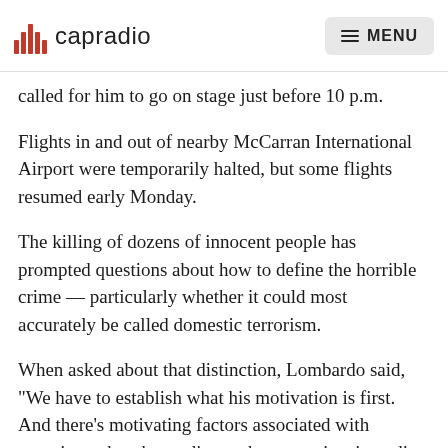capradio  MENU
called for him to go on stage just before 10 p.m.
Flights in and out of nearby McCarran International Airport were temporarily halted, but some flights resumed early Monday.
The killing of dozens of innocent people has prompted questions about how to define the horrible crime — particularly whether it could most accurately be called domestic terrorism.
When asked about that distinction, Lombardo said, "We have to establish what his motivation is first. And there's motivating factors associated with terrorism other than a distraught person just intending to cause mass casualties."
NPR's Leila Fadel says Las Vegas Metropolitan Police Department Undersheriff Kevin McMahill described the